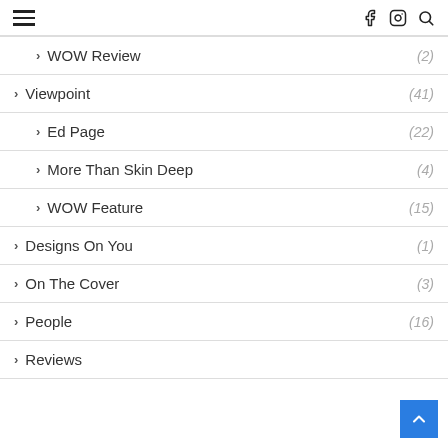Navigation menu header with hamburger icon and social/search icons
> WOW Review (2)
> Viewpoint (41)
> Ed Page (22)
> More Than Skin Deep (4)
> WOW Feature (15)
> Designs On You (1)
> On The Cover (3)
> People (16)
> Reviews